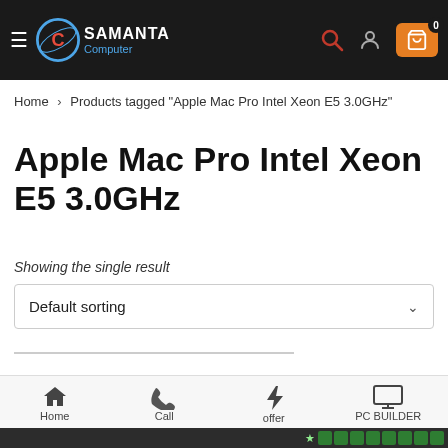[Figure (logo): Samanta Computer logo with circular blue C icon and white/blue text on dark header]
Samanta Computer — navigation header with hamburger menu, search, user, and cart icons
Home > Products tagged "Apple Mac Pro Intel Xeon E5 3.0GHz"
Apple Mac Pro Intel Xeon E5 3.0GHz
Showing the single result
Default sorting
Home | Call | offer | PC BUILDER